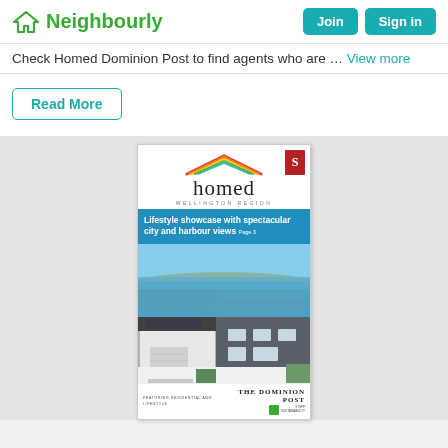Neighbourly
Check Homed Dominion Post to find agents who are … View more
Read More
[Figure (screenshot): Cover of Homed Wellington Region magazine published in The Dominion Post, showing a modern residential property with harbour views and the headline 'Lifestyle showcase with spectacular city and harbour views Page 3'. The cover features the homed logo with a colourful roofline graphic and the Stuff 'S' logo in red.]